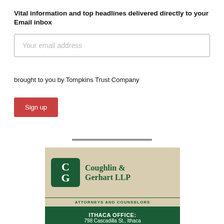Vital information and top headlines delivered directly to your Email inbox
Your email address
brought to you by Tompkins Trust Company
Sign up
[Figure (logo): Coughlin & Gerhart LLP law firm advertisement with logo, 'ATTORNEYS AND COUNSELORS' tagline, and 'ITHACA OFFICE: 798 Cascadilla St., Ithaca' on dark green background]